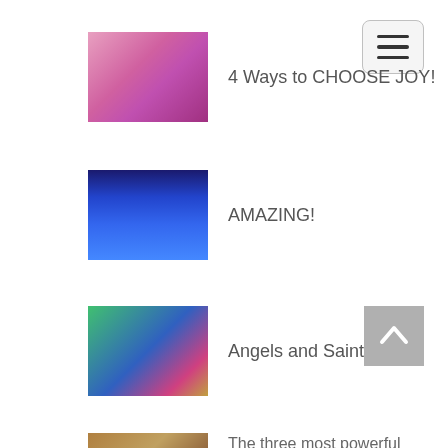[Figure (screenshot): Hamburger menu button (three horizontal lines) in rounded rectangle]
4 Ways to CHOOSE JOY!
AMAZING!
Angels and Saints
[Figure (screenshot): Back to top button with upward chevron arrow on grey background]
The three most powerful words...